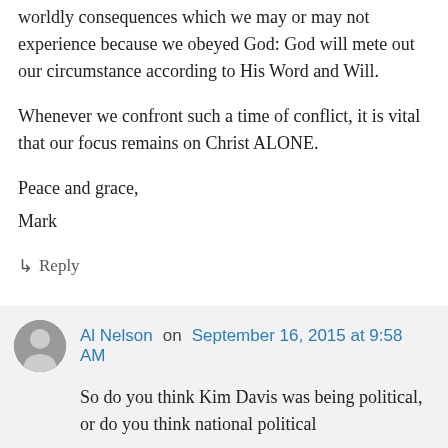worldly consequences which we may or may not experience because we obeyed God: God will mete out our circumstance according to His Word and Will.
Whenever we confront such a time of conflict, it is vital that our focus remains on Christ ALONE.
Peace and grace,
Mark
↳ Reply
Al Nelson on September 16, 2015 at 9:58 AM
So do you think Kim Davis was being political, or do you think national political